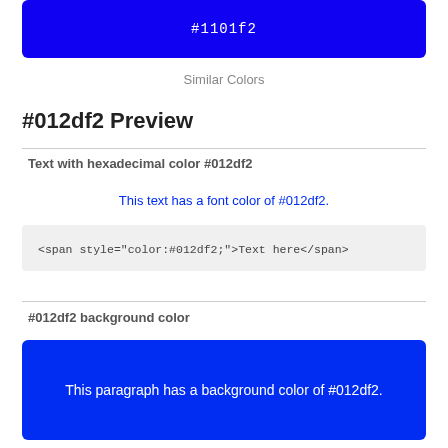[Figure (other): Blue color swatch bar showing hex color #1101f2]
Similar Colors
#012df2 Preview
Text with hexadecimal color #012df2
This text has a font color of #012df2.
<span style="color:#012df2;">Text here</span>
#012df2 background color
[Figure (other): Blue background color swatch with white text: This paragraph has a background color of #012df2.]